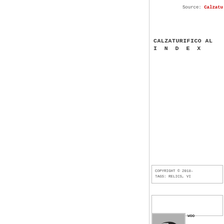Source: Calzatu
CALZATURIFICO AL
I N D E X
COPYRIGHT © 2018-
TAGS: RELICS, VI
[Figure (photo): Black and white thumbnail photograph of a shoe, with text block beside it reading WOO]